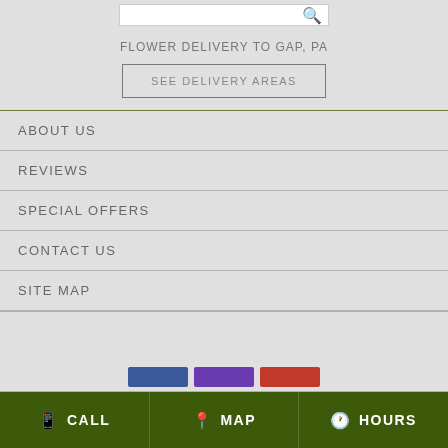[Figure (screenshot): Search bar with magnifying glass icon]
FLOWER DELIVERY TO GAP, PA
SEE DELIVERY AREAS
ABOUT US
REVIEWS
SPECIAL OFFERS
CONTACT US
SITE MAP
[Figure (screenshot): Social media buttons (Facebook, Twitter/purple, Google+/red)]
CALL   MAP   HOURS